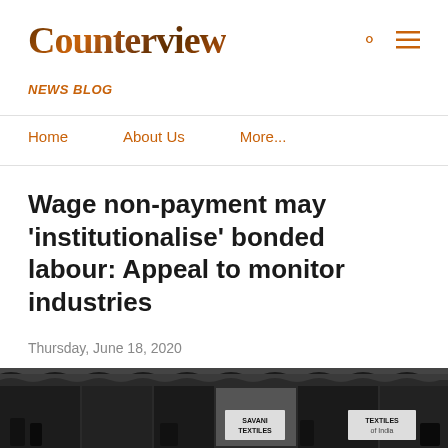Counterview
NEWS BLOG
Home   About Us   More...
Wage non-payment may 'institutionalise' bonded labour: Appeal to monitor industries
Thursday, June 18, 2020
[Figure (photo): Dark image of textile industry storefronts with signs reading 'SAVANI TEXTILES' and 'TEXTILES' under a corrugated roof]